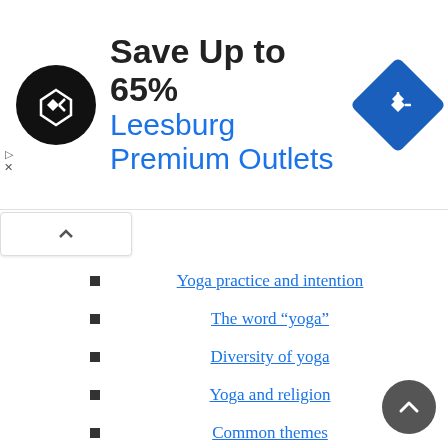[Figure (infographic): Ad banner: black circular logo with arrows icon, text 'Save Up to 65%' in bold dark, 'Leesburg Premium Outlets' in blue, blue diamond navigation icon on right]
Yoga practice and intention
The word “yoga”
Diversity of yoga
Yoga and religion
Common themes
Origins
Hindu yoga
Bhagavad Gita
Patanjali
God in Yoga philosophy
Hatha yoga
Natya yoga
Buddhist yoga
Yoga and tantra